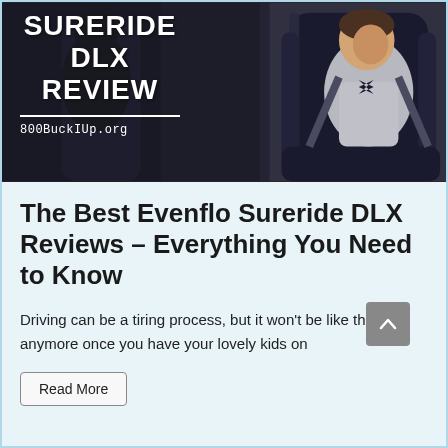[Figure (photo): Hero image showing a child in a car seat (Evenflo Sureride DLX) with white bold text reading SURERIDE DLX REVIEW and website URL 800BuckIUp.org on a dark background]
The Best Evenflo Sureride DLX Reviews – Everything You Need to Know
Driving can be a tiring process, but it won't be like that anymore once you have your lovely kids on
Read More